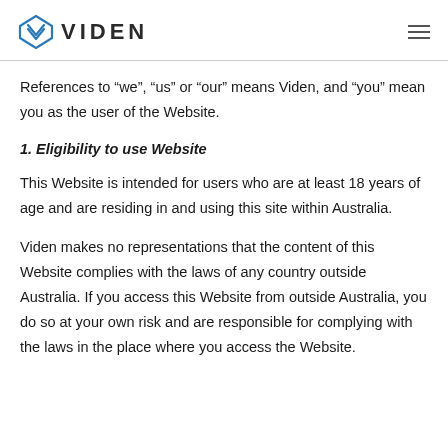VIDEN
References to “we”, “us” or “our” means Viden, and “you” mean you as the user of the Website.
1. Eligibility to use Website
This Website is intended for users who are at least 18 years of age and are residing in and using this site within Australia.
Viden makes no representations that the content of this Website complies with the laws of any country outside Australia. If you access this Website from outside Australia, you do so at your own risk and are responsible for complying with the laws in the place where you access the Website.